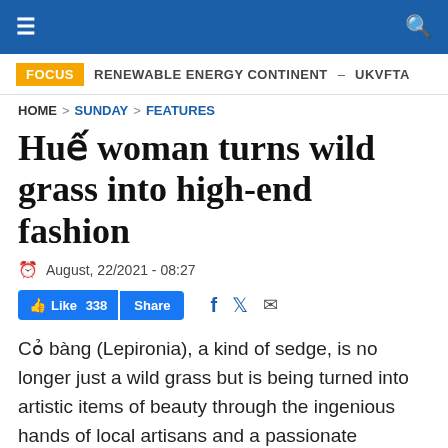≡  [search icon]
FOCUS   RENEWABLE ENERGY CONTINENT  –  UKVFTA
HOME > SUNDAY > FEATURES
Huế woman turns wild grass into high-end fashion
August, 22/2021 - 08:27
👍 Like 338  Share   f  🐦  ✉
Cỏ bàng (Lepironia), a kind of sedge, is no longer just a wild grass but is being turned into artistic items of beauty through the ingenious hands of local artisans and a passionate businesswoman.